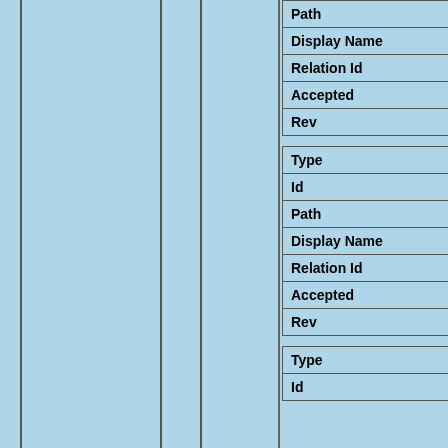| Key | Value |
| --- | --- |
| Path | domain/tekster... |
| Display Name | Over de papeg... |
| Relation Id | RELA0000001... |
| Accepted | yes |
| Rev | 1 |
| Type | tekst |
| Id | TEXT0000000... |
| Path | domain/tekster... |
| Display Name | Over het scho... |
| Relation Id | RELA0000001... |
| Accepted | yes |
| Rev | 1 |
| Type | tekst |
| Id | TEXT0000000139... |